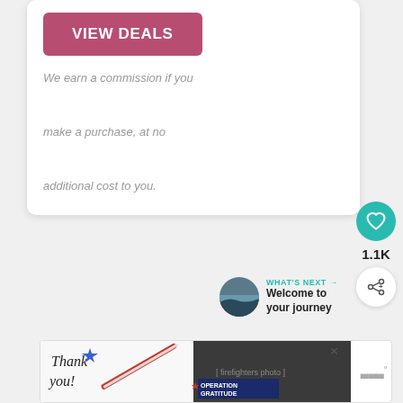[Figure (other): Pink/rose-colored 'VIEW DEALS' button]
We earn a commission if you make a purchase, at no additional cost to you.
[Figure (other): Teal heart (like) button with count 1.1K and share button below]
1.1K
[Figure (other): What's Next promo: thumbnail image of ocean/landscape, label WHAT'S NEXT with arrow, text 'Welcome to your journey']
[Figure (other): Operation Gratitude advertisement banner with 'Thank you!' and firefighters photo, with close button and Whisk logo]